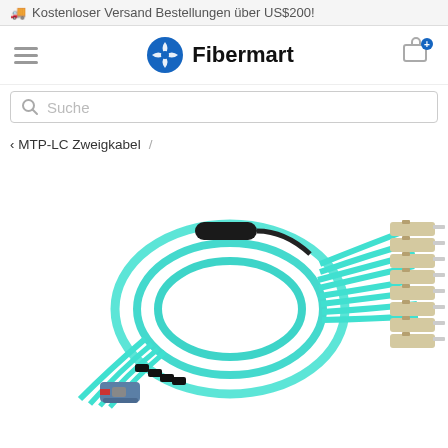🚚 Kostenloser Versand Bestellungen über US$200!
[Figure (logo): Fibermart logo with blue pinwheel icon and bold text 'Fibermart']
Suche
< MTP-LC Zweigkabel /
[Figure (photo): MTP-LC fiber optic breakout cable in aqua/teal color with black MTP connector on one end and multiple LC duplex connectors on the other end, coiled on white background]